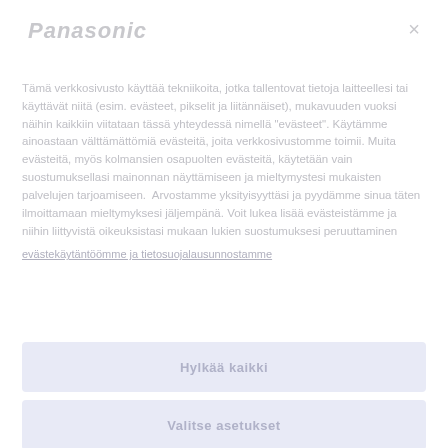[Figure (logo): Panasonic logo in gray italic text]
Tämä verkkosivusto käyttää tekniikoita, jotka tallentovat tietoja laitteellesi tai käyttävät niitä (esim. evästeet, pikselit ja liitännäiset), mukavuuden vuoksi näihin kaikkiin viitataan tässä yhteydessä nimellä "evästeet". Käytämme ainoastaan välttämättömiä evästeitä, joita verkkosivustomme toimii. Muita evästeitä, myös kolmansien osapuolten evästeitä, käytetään vain suostumuksellasi mainonnan näyttämiseen ja miellymmistesi mukaisten palvelujen tarjoamiseen. Arvostamme yksityisyyttäsi ja pyydämme sinua täten ilmoittamaan mieltymyksesi jäljempänä. Voit lukea lisää evästeistämme ja niihin liittyvistä oikeuksistasi mukaan lukien suostumuksesi peruuttaminen
evästekäytäntöömme ja tietosuojalausunnostamme
Hylkää kaikki
Valitse asetukset